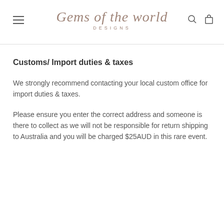Gems of the world DESIGNS
Customs/ Import duties & taxes
We strongly recommend contacting your local custom office for import duties & taxes.
Please ensure you enter the correct address and someone is there to collect as we will not be responsible for return shipping to Australia and you will be charged $25AUD in this rare event.